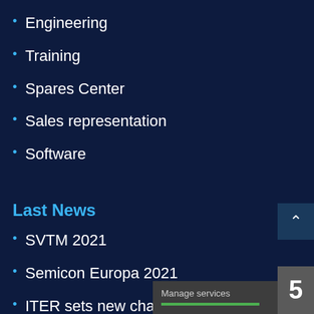Engineering
Training
Spares Center
Sales representation
Software
Last News
SVTM 2021
Semicon Europa 2021
ITER sets new challenges for leak detection
Vacuum technology & Maintenan…
How to detect a leak in ITER's Va… Vessel from 2000 entry points?